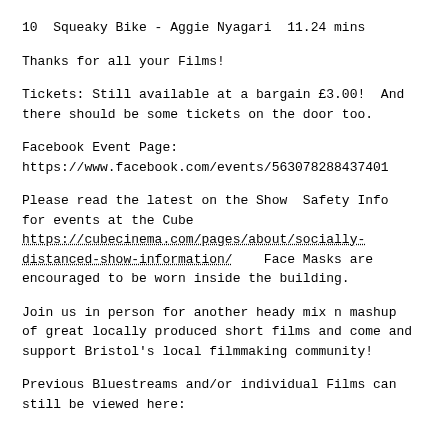10  Squeaky Bike - Aggie Nyagari  11.24 mins
Thanks for all your Films!
Tickets: Still available at a bargain £3.00!  And there should be some tickets on the door too.
Facebook Event Page:
https://www.facebook.com/events/563078288437401
Please read the latest on the Show  Safety Info for events at the Cube https://cubecinema.com/pages/about/socially-distanced-show-information/   Face Masks are encouraged to be worn inside the building.
Join us in person for another heady mix n mashup of great locally produced short films and come and support Bristol's local filmmaking community!
Previous Bluestreams and/or individual Films can still be viewed here: